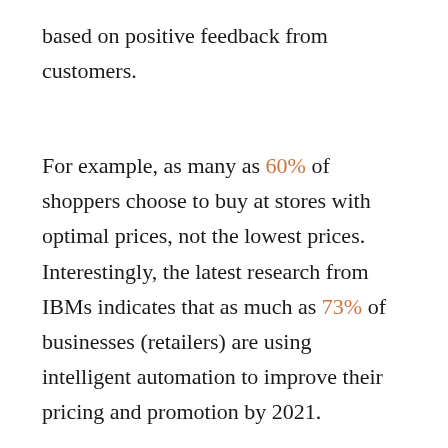based on positive feedback from customers.
For example, as many as 60% of shoppers choose to buy at stores with optimal prices, not the lowest prices. Interestingly, the latest research from IBMs indicates that as much as 73% of businesses (retailers) are using intelligent automation to improve their pricing and promotion by 2021.